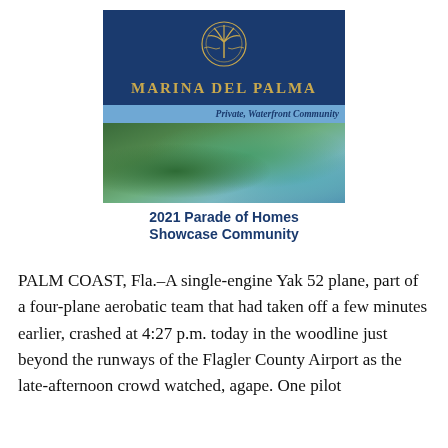[Figure (illustration): Marina Del Palma advertisement featuring a dark blue header with a gold palm tree emblem and the brand name 'MARINA DEL PALMA' in gold letters, a light blue strip with italic text 'Private, Waterfront Community', an aerial photo of a waterfront community with trees and water, and a white section at the bottom reading '2021 Parade of Homes Showcase Community' in bold dark blue text.]
PALM COAST, Fla.–A single-engine Yak 52 plane, part of a four-plane aerobatic team that had taken off a few minutes earlier, crashed at 4:27 p.m. today in the woodline just beyond the runways of the Flagler County Airport as the late-afternoon crowd watched, agape. One pilot